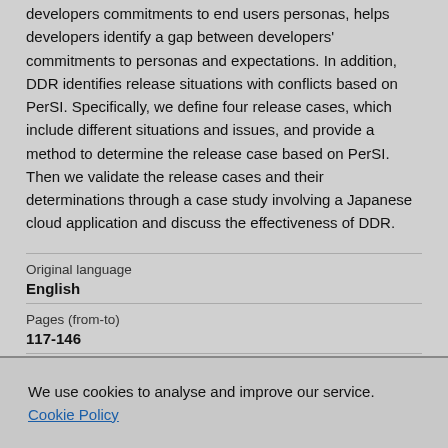developers commitments to end users personas, helps developers identify a gap between developers' commitments to personas and expectations. In addition, DDR identifies release situations with conflicts based on PerSI. Specifically, we define four release cases, which include different situations and issues, and provide a method to determine the release case based on PerSI. Then we validate the release cases and their determinations through a case study involving a Japanese cloud application and discuss the effectiveness of DDR.
| Original language | English |
| Pages (from-to) | 117-146 |
| Number of pages |  |
We use cookies to analyse and improve our service. Cookie Policy